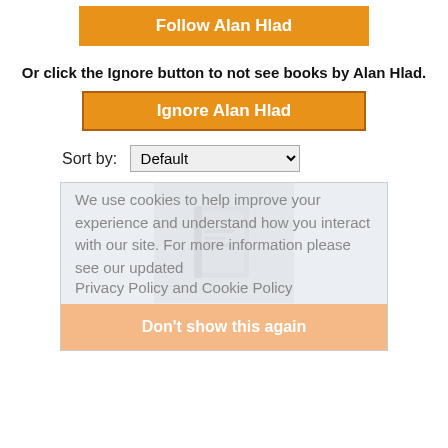[Figure (screenshot): Orange 'Follow Alan Hlad' button]
Or click the Ignore button to not see books by Alan Hlad.
[Figure (screenshot): Orange 'Ignore Alan Hlad' button with border]
Sort by: Default
[Figure (screenshot): Book card with cookie overlay showing 'We use cookies to help improve your experience and understand how you interact with our site. For more information please see our updated Privacy Policy and Cookie Policy' and 'Don't show this again' button, and book 'The Long Flight Home' by Alan Hlad]
The Long Flight Home
by Alan Hlad